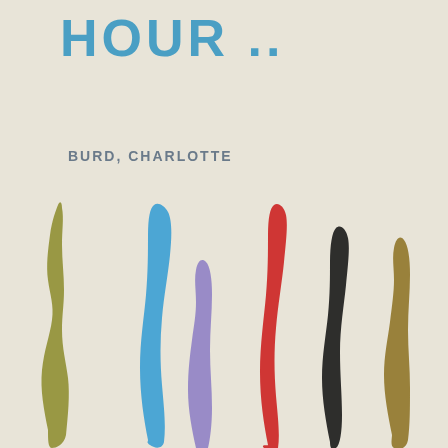HOUR ..
BURD, CHARLOTTE
[Figure (illustration): Book cover with colorful vertical paint brushstrokes in yellow/olive, blue, purple, red, black, and mustard yellow colors on a cream/off-white textured background]